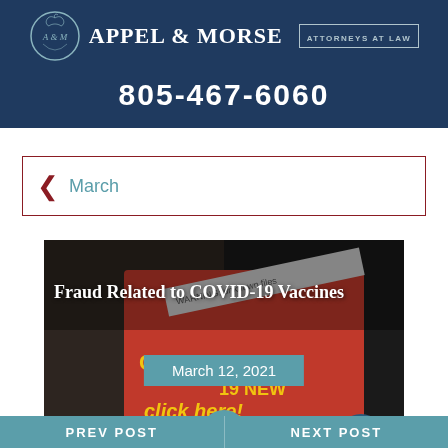[Figure (logo): Appel & Morse Attorneys at Law logo with apple monogram and firm name]
805-467-6060
March
[Figure (photo): Hand holding phone with COVID-19 phishing/fraud warning message and click here prompt]
Fraud Related to COVID-19 Vaccines
March 12, 2021
PREV POST   NEXT POST